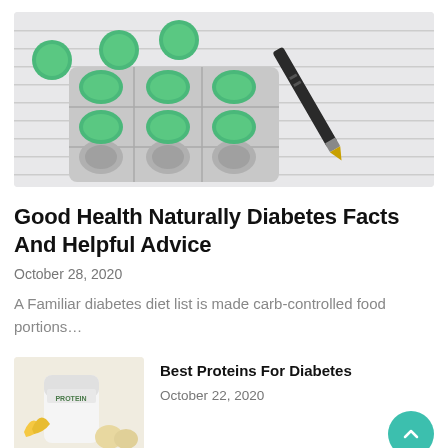[Figure (photo): Blister pack of round green pills/tablets on a white lined notepad background with a black pen]
Good Health Naturally Diabetes Facts And Helpful Advice
October 28, 2020
A Familiar diabetes diet list is made carb-controlled food portions…
[Figure (photo): White protein powder container labeled PROTEIN with bananas and eggs beside it]
Best Proteins For Diabetes
October 22, 2020